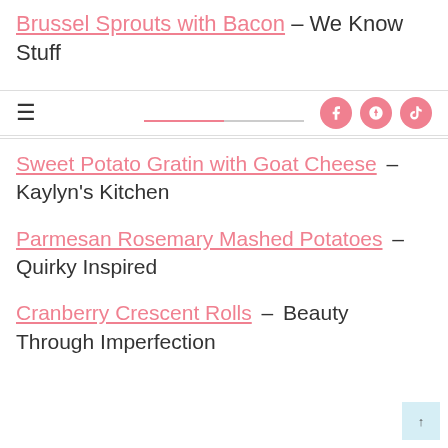Brussel Sprouts with Bacon – We Know Stuff
[Figure (screenshot): Navigation bar with hamburger menu icon on left and Facebook, Pinterest, TikTok social icons on right]
Sweet Potato Gratin with Goat Cheese – Kaylyn's Kitchen
Parmesan Rosemary Mashed Potatoes – Quirky Inspired
Cranberry Crescent Rolls – Beauty Through Imperfection